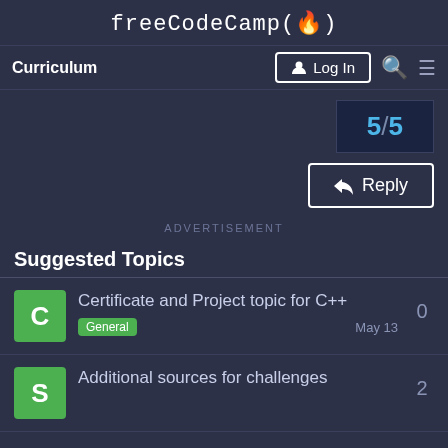freeCodeCamp(🔥)
Curriculum  Log In  🔍  ☰
5/5
↩ Reply
ADVERTISEMENT
Suggested Topics
Certificate and Project topic for C++  General  May 13  0
Additional sources for challenges  2